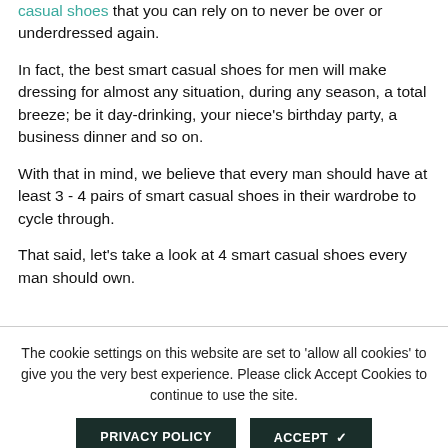casual shoes that you can rely on to never be over or underdressed again.
In fact, the best smart casual shoes for men will make dressing for almost any situation, during any season, a total breeze; be it day-drinking, your niece's birthday party, a business dinner and so on.
With that in mind, we believe that every man should have at least 3 - 4 pairs of smart casual shoes in their wardrobe to cycle through.
That said, let's take a look at 4 smart casual shoes every man should own.
The cookie settings on this website are set to 'allow all cookies' to give you the very best experience. Please click Accept Cookies to continue to use the site.